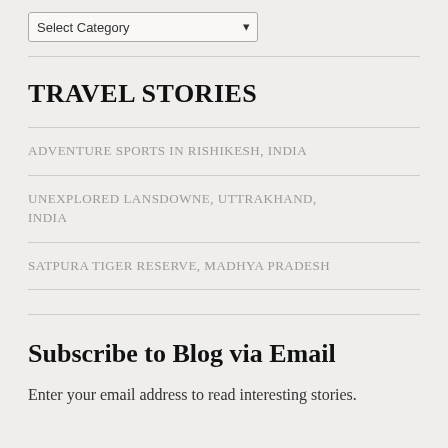[Figure (other): A dropdown select widget with label 'Select Category' and a chevron arrow on the right]
TRAVEL STORIES
ADVENTURE SPORTS IN RISHIKESH, INDIA
UNEXPLORED LANSDOWNE, UTTRAKHAND, INDIA
SATPURA TIGER RESERVE, MADHYA PRADESH
Subscribe to Blog via Email
Enter your email address to read interesting stories.